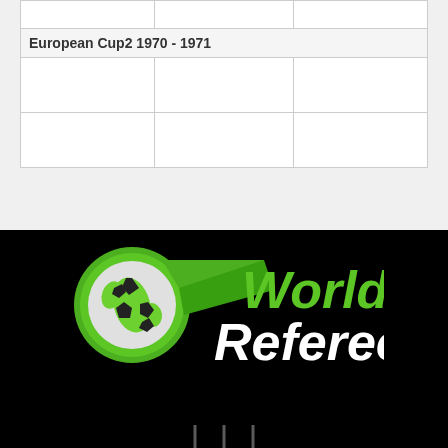|  |  |  |
| --- | --- | --- |
|  |  |  |
| European Cup2 1970 - 1971 |  |  |
|  |  |  |
|  |  |  |
[Figure (logo): World Referee logo — a green soccer ball with globe design, a green swoosh/whistle shape, and bold italic text 'World Referee' in green and white on black background]